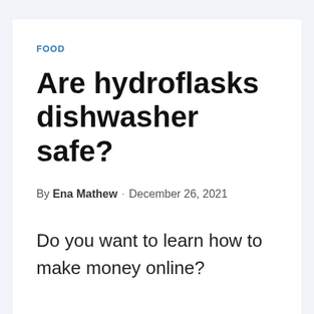FOOD
Are hydroflasks dishwasher safe?
By Ena Mathew · December 26, 2021
Do you want to learn how to make money online?